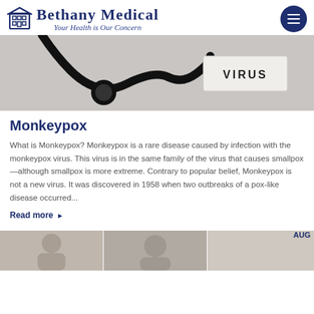Bethany Medical — Your Health is Our Concern
[Figure (photo): Close-up photo of a stethoscope near a card or label reading VIRUS, on a grey surface]
Monkeypox
What is Monkeypox? Monkeypox is a rare disease caused by infection with the monkeypox virus. This virus is in the same family of the virus that causes smallpox—although smallpox is more extreme. Contrary to popular belief, Monkeypox is not a new virus. It was discovered in 1958 when two outbreaks of a pox-like disease occurred...
Read more ▶
[Figure (photo): Thumbnail photos at bottom of page showing medical/health related images, with AUG label visible on right]
[Figure (photo): Second thumbnail]
[Figure (photo): Third thumbnail with AUG text]